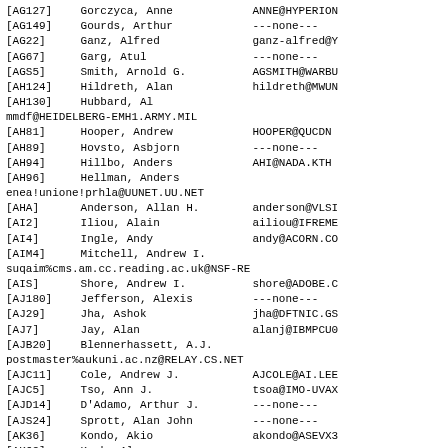| ID | Name | Email |
| --- | --- | --- |
| [AG127] | Gorczyca, Anne | ANNE@HYPERION |
| [AG149] | Gourds, Arthur | ---none--- |
| [AG22] | Ganz, Alfred | ganz-alfred@Y |
| [AG67] | Garg, Atul | ---none--- |
| [AGS5] | Smith, Arnold G. | AGSMITH@WARBU |
| [AH124] | Hildreth, Alan | hildreth@MWUN |
| [AH130] | Hubbard, Al | mmdf@HEIDELBERG-EMH1.ARMY.MIL |
| [AH81] | Hooper, Andrew | HOOPER@QUCDN |
| [AH89] | Hovsto, Asbjorn | ---none--- |
| [AH94] | Hillbo, Anders | AHI@NADA.KTH |
| [AH96] | Hellman, Anders | enea!unione!prhla@UUNET.UU.NET |
| [AHA] | Anderson, Allan H. | anderson@VLSI |
| [AI2] | Iliou, Alain | ailiou@IFREME |
| [AI4] | Ingle, Andy | andy@ACORN.CO |
| [AIM4] | Mitchell, Andrew I. | suqaim%cms.am.cc.reading.ac.uk@NSF-RE |
| [AIS] | Shore, Andrew I. | shore@ADOBE.C |
| [AJ180] | Jefferson, Alexis | ---none--- |
| [AJ29] | Jha, Ashok | jha@DFTNIC.GS |
| [AJ7] | Jay, Alan | alanj@IBMPCU0 |
| [AJB20] | Blennerhassett, A.J. | postmaster%aukuni.ac.nz@RELAY.CS.NET |
| [AJC11] | Cole, Andrew J. | AJCOLE@AI.LEE |
| [AJC5] | Tso, Ann J. | tsoa@IMO-UVAX |
| [AJD14] | D'Adamo, Arthur J. | ---none--- |
| [AJS24] | Sprott, Alan John | ---none--- |
| [AK36] | Kondo, Akio | akondo@ASEVX3 |
| [AK62] | Kwok, Alex | ---none--- |